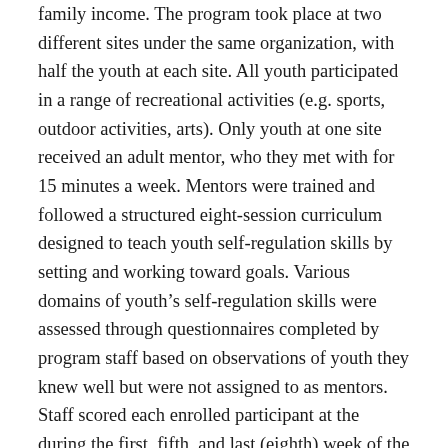family income. The program took place at two different sites under the same organization, with half the youth at each site. All youth participated in a range of recreational activities (e.g. sports, outdoor activities, arts). Only youth at one site received an adult mentor, who they met with for 15 minutes a week. Mentors were trained and followed a structured eight-session curriculum designed to teach youth self-regulation skills by setting and working toward goals. Various domains of youth's self-regulation skills were assessed through questionnaires completed by program staff based on observations of youth they knew well but were not assigned to as mentors. Staff scored each enrolled participant at the during the first, fifth, and last (eighth) week of the program.
Results
The researchers compared changes in self-